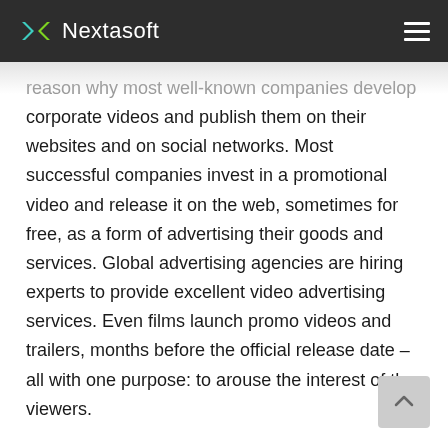Nextasoft
reason why most well-known companies develop corporate videos and publish them on their websites and on social networks. Most successful companies invest in a promotional video and release it on the web, sometimes for free, as a form of advertising their goods and services. Global advertising agencies are hiring experts to provide excellent video advertising services. Even films launch promo videos and trailers, months before the official release date – all with one purpose: to arouse the interest of the viewers.
Experts in the media industry understand the importance and strength of video ads. The genius of advertising lies in creating a video telling a captivating story in a few seconds – be it funny,